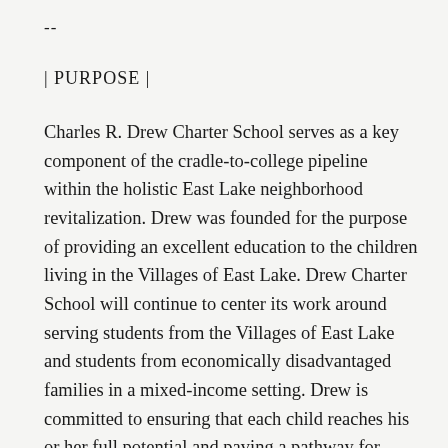--
| PURPOSE |
Charles R. Drew Charter School serves as a key component of the cradle-to-college pipeline within the holistic East Lake neighborhood revitalization. Drew was founded for the purpose of providing an excellent education to the children living in the Villages of East Lake. Drew Charter School will continue to center its work around serving students from the Villages of East Lake and students from economically disadvantaged families in a mixed-income setting. Drew is committed to ensuring that each child reaches his or her full potential and paving a pathway for each student's long-term health, growth, and success in life.